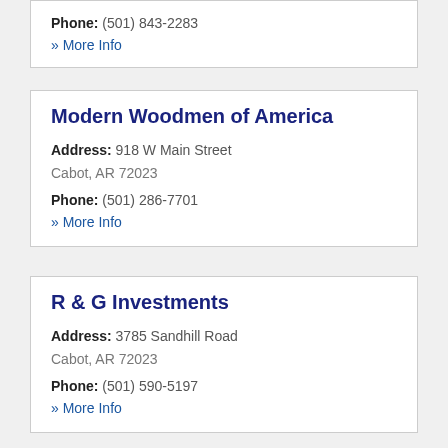Phone: (501) 843-2283
» More Info
Modern Woodmen of America
Address: 918 W Main Street
Cabot, AR 72023
Phone: (501) 286-7701
» More Info
R & G Investments
Address: 3785 Sandhill Road
Cabot, AR 72023
Phone: (501) 590-5197
» More Info